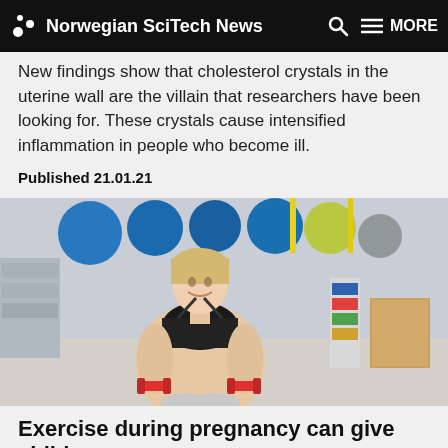Norwegian SciTech News
New findings show that cholesterol crystals in the uterine wall are the villain that researchers have been looking for. These crystals cause intensified inflammation in people who become ill.
Published 21.01.21
[Figure (photo): Pregnant woman in a gym sitting on an exercise ball holding red dumbbells, smiling at camera, with exercise balls and gym equipment in the background]
Exercise during pregnancy can give child